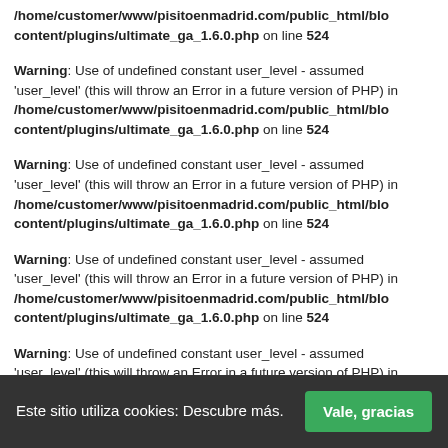/home/customer/www/pisitoenmadrid.com/public_html/blo content/plugins/ultimate_ga_1.6.0.php on line 524
Warning: Use of undefined constant user_level - assumed 'user_level' (this will throw an Error in a future version of PHP) in /home/customer/www/pisitoenmadrid.com/public_html/blo content/plugins/ultimate_ga_1.6.0.php on line 524
Warning: Use of undefined constant user_level - assumed 'user_level' (this will throw an Error in a future version of PHP) in /home/customer/www/pisitoenmadrid.com/public_html/blo content/plugins/ultimate_ga_1.6.0.php on line 524
Warning: Use of undefined constant user_level - assumed 'user_level' (this will throw an Error in a future version of PHP) in /home/customer/www/pisitoenmadrid.com/public_html/blo content/plugins/ultimate_ga_1.6.0.php on line 524
Warning: Use of undefined constant user_level - assumed 'user_level' (this will throw an Error in a future version of PHP) in /home/customer/www/pisitoenmadrid.com/public_html/blo content/plugins/ultimate_ga_1.6.0.php on line 524
II  Comentarios recientes
Este sitio utiliza cookies: Descubre más.